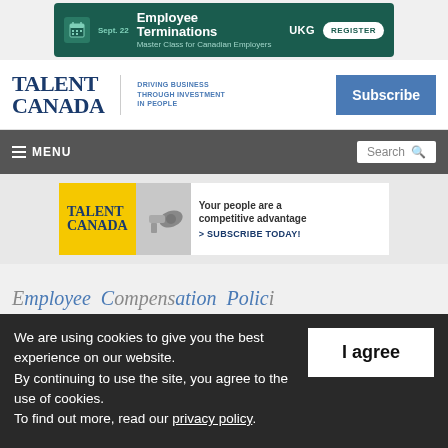[Figure (screenshot): UKG Employee Terminations ad banner — dark teal background, calendar icon, Sept. 22 date, title 'Employee Terminations', subtitle 'Master Class for Canadian Employers', UKG logo, REGISTER button]
[Figure (logo): Talent Canada logo — 'TALENT CANADA' in serif font, tagline 'DRIVING BUSINESS THROUGH INVESTMENT IN PEOPLE', blue Subscribe button on right]
[Figure (screenshot): Navigation bar — dark grey, hamburger menu icon, MENU text, search box on right]
[Figure (screenshot): Talent Canada subscription ad banner — yellow and white background, megaphone image, 'Your people are a competitive advantage', '> SUBSCRIBE TODAY!']
We are using cookies to give you the best experience on our website. By continuing to use the site, you agree to the use of cookies. To find out more, read our privacy policy.